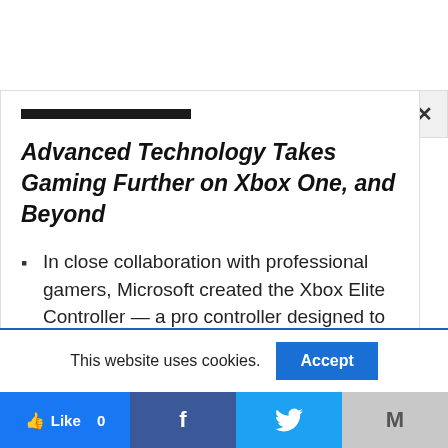Advanced Technology Takes Gaming Further on Xbox One, and Beyond
In close collaboration with professional gamers, Microsoft created the Xbox Elite Controller — a pro controller designed to take gaming to the next level.
This website uses cookies.
Accept
Like 0